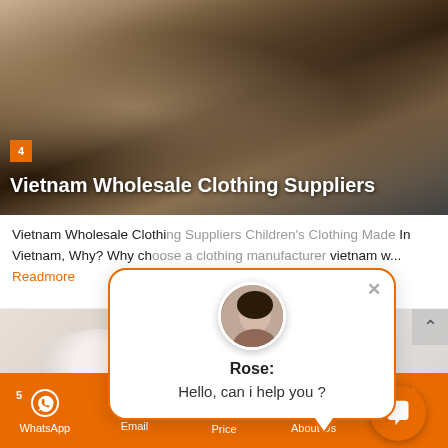[Figure (photo): Hero image of women shopping for clothes in a retail store with clothing racks, overlaid with slide number badge '4' and title text 'Vietnam Wholesale Clothing Suppliers']
Vietnam Wholesale Clothing Suppliers
Vietnam Wholesale Clothing Suppliers Children's Clothing Made In Vietnam, Why? Why ch... manufacturer vietnam w... Readmore
[Figure (screenshot): Chat popup overlay with avatar of woman named Rose, close button X, message 'Hello, can i help you ?' and speech bubble tail pointing down-right]
[Figure (photo): Product image showing two side-by-side photos of white t-shirts. Badge '5' visible on left image.]
WhatsApp  Email  Price  About Us  Chat